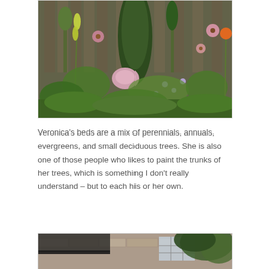[Figure (photo): Garden photo showing a lush mix of tall green evergreens, coneflowers (purple/pink), and various perennial and annual plants against a wooden fence background. Orange lily visible at right edge.]
Veronica’s beds are a mix of perennials, annuals, evergreens, and small deciduous trees. She is also one of those people who likes to paint the trunks of her trees, which is something I don’t really understand – but to each his or her own.
[Figure (photo): Partial photo of a building exterior with stone/brick facade and trees in foreground, partially cut off at bottom of page.]